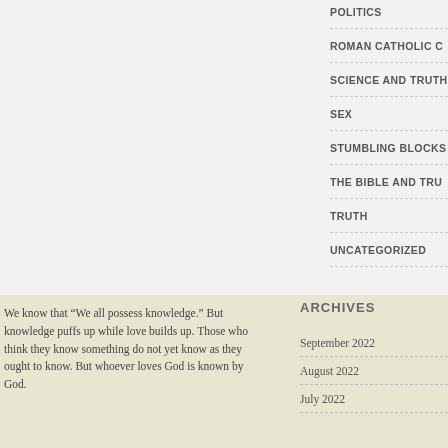POLITICS
ROMAN CATHOLIC C
SCIENCE AND TRUTH
SEX
STUMBLING BLOCKS
THE BIBLE AND TRU
TRUTH
UNCATEGORIZED
We know that “We all possess knowledge.” But knowledge puffs up while love builds up. Those who think they know something do not yet know as they ought to know. But whoever loves God is known by God.
ARCHIVES
September 2022
August 2022
July 2022